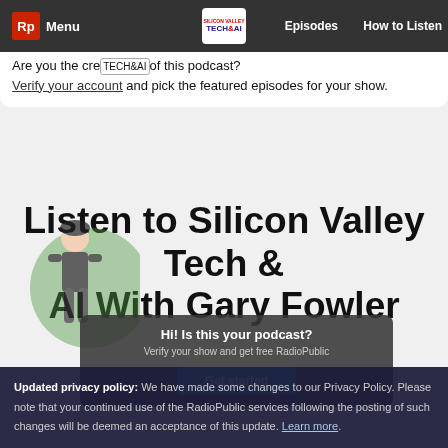Rp Menu | TECH&AI | Episodes | How to Listen
Are you the creator of this podcast? Verify your account and pick the featured episodes for your show.
Listen to Silicon Valley Tech & AI With Gary Fowler
Hi! Is this your podcast? Verify your show and get free RadioPublic Get started
Updated privacy policy: We have made some changes to our Privacy Policy. Please note that your continued use of the RadioPublic services following the posting of such changes will be deemed an acceptance of this update. Learn more.